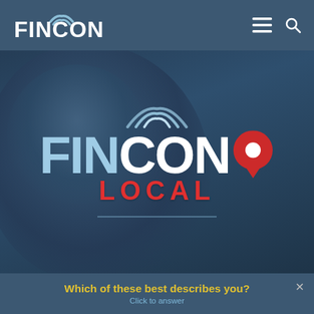FINCON
[Figure (logo): FinCon Local logo with wifi arc above, 'FIN' in light blue, 'CON' in white, red map pin marker, and 'LOCAL' in red below, overlaid on a dark blue-tinted photo of a man with glasses]
Which of these best describes you?
Click to answer